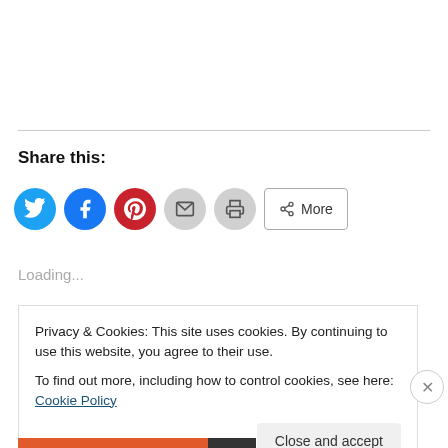Share this:
[Figure (infographic): Social share buttons: Twitter (blue circle), Facebook (blue circle), Pinterest (red circle), Email (grey circle), Print (grey circle), and a More button with share icon]
Loading...
Privacy & Cookies: This site uses cookies. By continuing to use this website, you agree to their use.
To find out more, including how to control cookies, see here: Cookie Policy
Close and accept